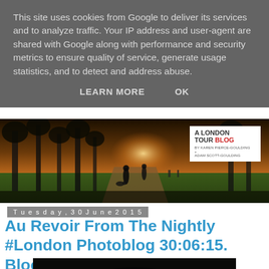This site uses cookies from Google to deliver its services and to analyze traffic. Your IP address and user-agent are shared with Google along with performance and security metrics to ensure quality of service, generate usage statistics, and to detect and address abuse.
LEARN MORE    OK
[Figure (photo): Header banner photo of people walking in a London park at sunset with golden light filtering through trees. Overlay logo box reads 'A LONDON TOUR BLOG by Karen Pierce-Goulding & Adam Scott-Goulding']
Tuesday, 30 June 2015
Au Revoir From The Nightly #London Photoblog 30:06:15. Bloody Pigeons!
[Figure (photo): Dark photo with pink handwritten text 'It's Back!' over a dark moody background]